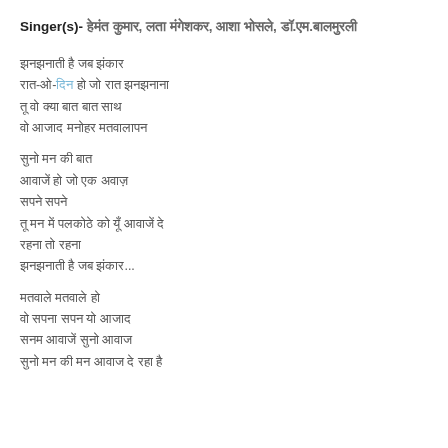Singer(s)- हेमंत कुमार, लता मंगेशकर, आशा भोसले, डॉ.एम.बालमुरली
झनझनाती है जब झंकार
रात-ओ-दिन हो जो रात झनझनाना
तू वो क्या बात बात साथ
वो आजाद मनोहर मतवालापन
सुनो मन की बात
आवाजें हो जो एक अवाज़
सपने सपने
तू मन में पलकोठे को यूँ आवाजें दे
रहना तो रहना
झनझनाती है जब झंकार...
मतवाले मतवाले हो
वो सपना सपन यो आजाद
सनम आवाजें सुनो आवाज
सुनो मन की मन आवाज दे रहा है